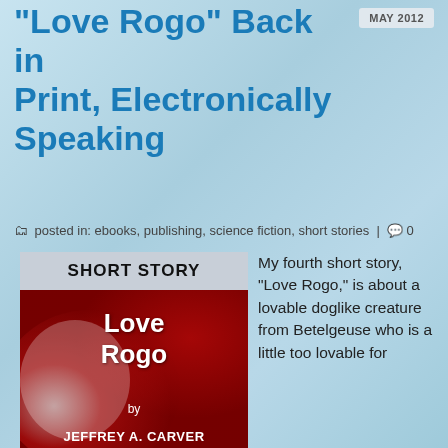MAY 2012
"Love Rogo" Back in Print, Electronically Speaking
posted in: ebooks, publishing, science fiction, short stories | 0
[Figure (illustration): Book cover for 'Love Rogo' short story by Jeffrey A. Carver, featuring red and white gradient design with title text in white]
My fourth short story, “Love Rogo,” is about a lovable doglike creature from Betelgeuse who is a little too lovable for